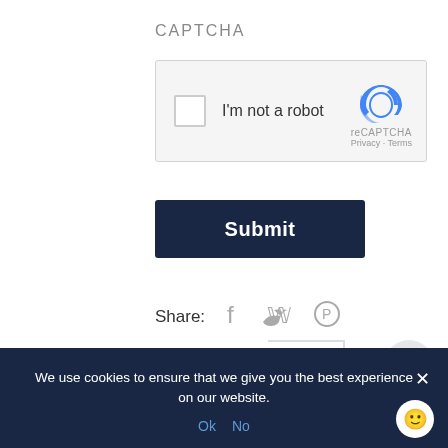CAPTCHA
[Figure (screenshot): reCAPTCHA widget with checkbox labeled 'I'm not a robot' and reCAPTCHA logo with Privacy and Terms links]
[Figure (screenshot): Dark navy Submit button]
Share:
[Figure (screenshot): Social share icons: Facebook, Twitter, Pinterest]
[Figure (screenshot): Counter bar showing 0]
We use cookies to ensure that we give you the best experience on our website.
Ok  No